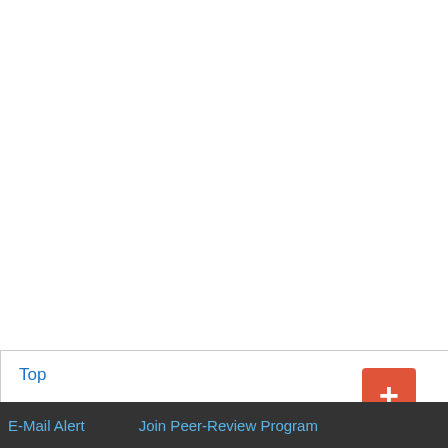http://dx.doi.org/10.
15. Albrecht, S.L., Maie… Hydrogenase in Rh… 203, 1255-1257. htt…
16. Abu-Shakra, S.S., P… Senescence in Soy… [Citation Tim…
17. Hennecke, H… Symbiosis. H…
18. Wych, R.D. and Ra… Acetylene-Ethy- len… http://dx.doi.org/10.
19. Kaschuk, G… Photosynthe… N2 Fixation … 8677.2009.0…
20. Saharatnam…
Top
ABSTRACT
Introduction
Materials and Methods
Results and Discussion
Conclusion
E-Mail Alert    Join Peer-Review Program